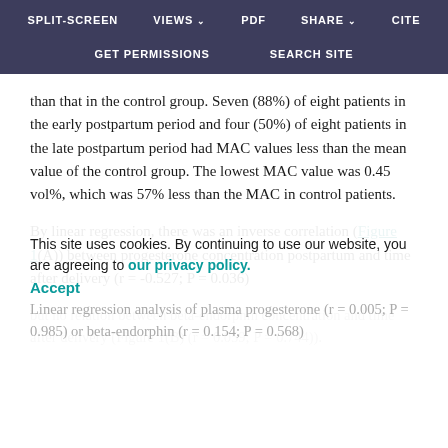SPLIT-SCREEN   VIEWS   PDF   SHARE   CITE   GET PERMISSIONS   SEARCH SITE
than that in the control group. Seven (88%) of eight patients in the early postpartum period and four (50%) of eight patients in the late postpartum period had MAC values less than the mean value of the control group. The lowest MAC value was 0.45 vol%, which was 57% less than the MAC in control patients.
By linear regression, there was an inverse correlation (Figure 1(A)) between progesterone concentration postpartum and time after delivery (r = -0.527; P = 0.036) but no relation between beta-endorphin concentration and time after delivery (Figure 1(B) (r = 0.059; P = 0.744)). Linear regression analysis of plasma progesterone (r = 0.005; P = 0.985) or beta-endorphin (r = 0.154; P = 0.568)
This site uses cookies. By continuing to use our website, you are agreeing to our privacy policy.
Accept